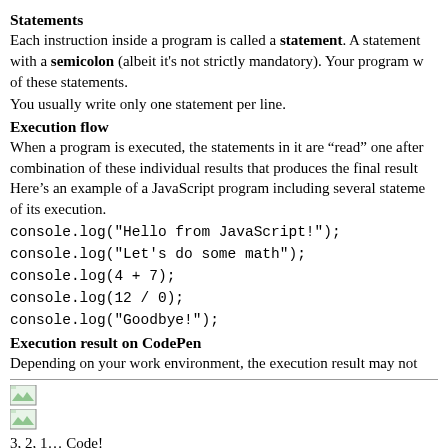Statements
Each instruction inside a program is called a statement. A statement with a semicolon (albeit it's not strictly mandatory). Your program w of these statements.
You usually write only one statement per line.
Execution flow
When a program is executed, the statements in it are “read” one after combination of these individual results that produces the final result Here’s an example of a JavaScript program including several stateme of its execution.
console.log("Hello from JavaScript!");
console.log("Let's do some math");
console.log(4 + 7);
console.log(12 / 0);
console.log("Goodbye!");
Execution result on CodePen
Depending on your work environment, the execution result may not
[Figure (screenshot): Two small image/screenshot icons stacked vertically]
3, 2, 1… Code!
5
Execution result in browser console
As expected, a division by zero (12/0) results in an Infinity value.
Comments